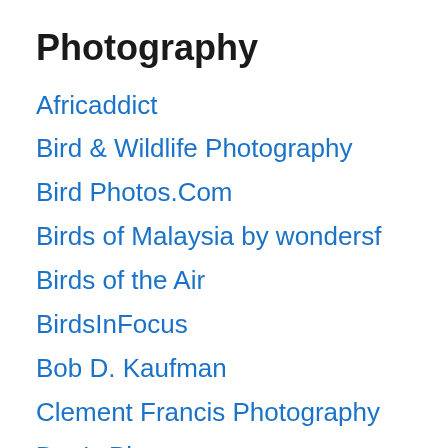Photography
Africaddict
Bird & Wildlife Photography
Bird Photos.Com
Birds of Malaysia by wondersf
Birds of the Air
BirdsInFocus
Bob D. Kaufman
Clement Francis Photography
Dan's Pix
Dario Sanches
Dave Appleton, www.gobirding.eu